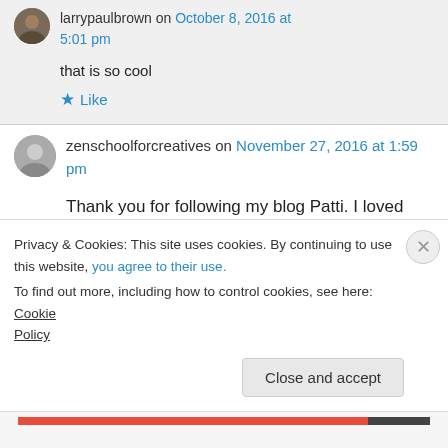larrypaulbrown on October 8, 2016 at 5:01 pm
that is so cool
Like
zenschoolforcreatives on November 27, 2016 at 1:59 pm
Thank you for following my blog Patti. I loved your post on sleep and silence. Thank you 🙂
Privacy & Cookies: This site uses cookies. By continuing to use this website, you agree to their use.
To find out more, including how to control cookies, see here: Cookie Policy
Close and accept